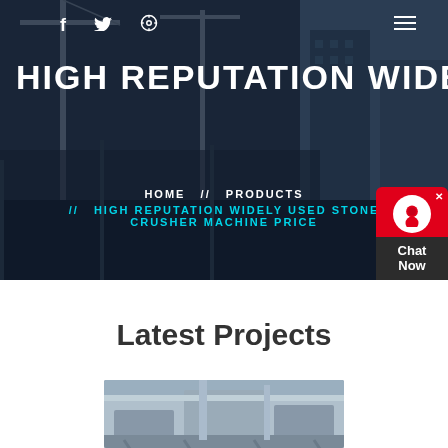[Figure (photo): Hero banner with construction site background showing cranes and buildings, dark overlay applied]
f  🐦  ⊕
HIGH REPUTATION WIDELY USE
HOME  //  PRODUCTS  //  HIGH REPUTATION WIDELY USED STONE CRUSHER MACHINE PRICE
Latest Projects
[Figure (photo): Industrial stone crusher machine in a facility]